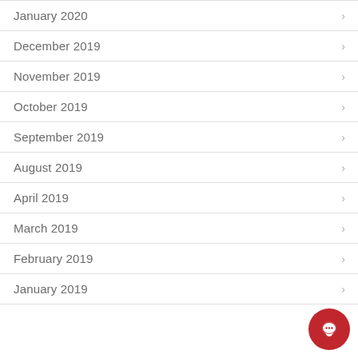January 2020
December 2019
November 2019
October 2019
September 2019
August 2019
April 2019
March 2019
February 2019
January 2019